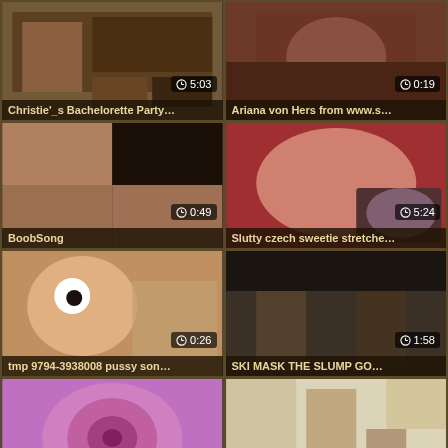[Figure (screenshot): Video thumbnail grid showing 8 video cards in 2-column layout. Each card shows a thumbnail image with duration overlay and title label.]
Christie'_s Bachelorette Party…
5:03
Ariana von Hers from www.s…
0:19
BoobSong
0:49
Slutty czech sweetie stretche…
5:24
tmp 9794-3938008 pussy son…
0:26
SKI MASK THE SLUMP GO…
1:58